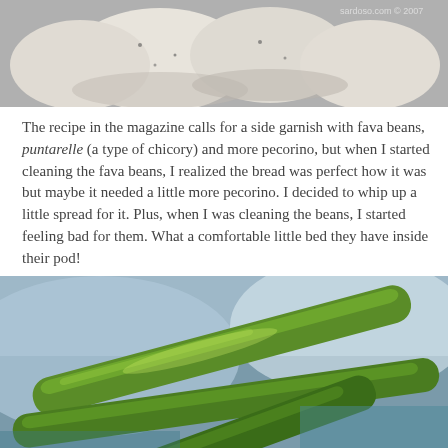[Figure (photo): Close-up photo of bread dough or rolls, light colored with specks, on a gray surface. Watermark text visible in top right corner.]
The recipe in the magazine calls for a side garnish with fava beans, puntarelle (a type of chicory) and more pecorino, but when I started cleaning the fava beans, I realized the bread was perfect how it was but maybe it needed a little more pecorino. I decided to whip up a little spread for it. Plus, when I was cleaning the beans, I started feeling bad for them. What a comfortable little bed they have inside their pod!
[Figure (photo): Close-up macro photo of green fava bean pods, showing the shiny green surface and elongated shape against a blurred background.]